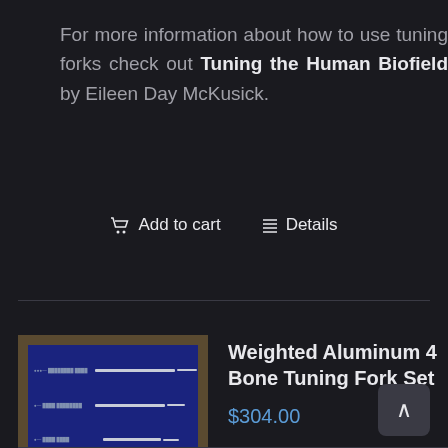For more information about how to use tuning forks check out Tuning the Human Biofield by Eileen Day McKusick.
Add to cart   Details
[Figure (photo): Product photo of Weighted Aluminum 4 Bone Tuning Fork Set showing four tuning forks of different sizes arranged on a dark blue background]
Weighted Aluminum 4 Bone Tuning Fork Set
$304.00